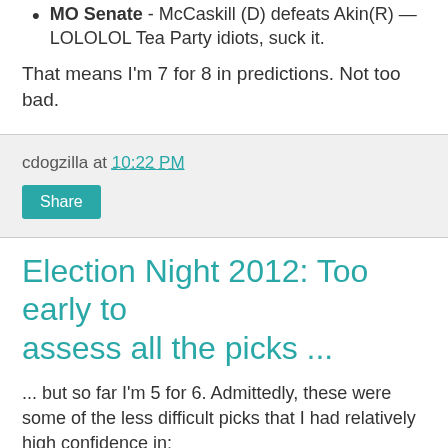MO Senate - McCaskill (D) defeats Akin(R) — LOLOLOL Tea Party idiots, suck it.
That means I'm 7 for 8 in predictions. Not too bad.
cdogzilla at 10:22 PM
Share
Election Night 2012: Too early to assess all the picks ...
... but so far I'm 5 for 6. Admittedly, these were some of the less difficult picks that I had relatively high confidence in:
MI for Obama
WI for Obama
PA for Obama (Romney and  was deluded to think he could steal this one.)
CT Senate - Murphy (D) defeated McMahon (R)